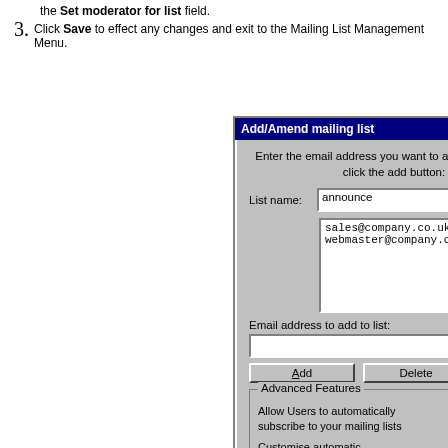the Set moderator for list field.
3. Click Save to effect any changes and exit to the Mailing List Management Menu.
[Figure (screenshot): Screenshot of 'Add/Amend mailing list' dialog box showing list name 'announce', email addresses 'sales@company.co.uk' and 'webmaster@company.co.uk', an email address input field, Add and Delete buttons, and an Advanced Features section with a checked checkbox for allowing users to automatically subscribe, a Subscribe button, and a Remove button.]